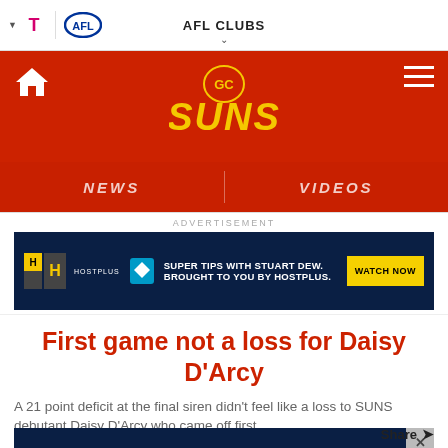AFL CLUBS
[Figure (logo): GC Suns logo with home icon and hamburger menu on red background]
NEWS | VIDEOS
ADVERTISEMENT
[Figure (screenshot): Hostplus advertisement banner: SUPER TIPS WITH STUART DEW. BROUGHT TO YOU BY HOSTPLUS. WATCH NOW]
First game not a loss for Daisy D'Arcy
A 21 point deficit at the final siren didn't feel like a loss to SUNS debutant Daisy D'Arcy who came off first...
[Figure (screenshot): Hostplus advertisement banner (second): SUPER TIPS WITH STUART DEW. BROUGHT TO YOU BY HOSTPLUS. WATCH NOW]
Share